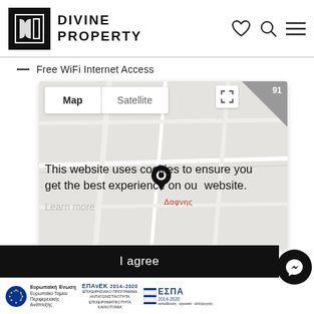[Figure (logo): Divine Property logo with black square and brand name]
Free WiFi Internet Access
[Figure (screenshot): Google Maps embed showing Map/Satellite toggle, location pin at Dafnis with label Δαφνης, expand button, and 91 badge]
This website uses cookies to ensure you get the best experience on our website.
Learn more
I agree
[Figure (logo): EU structural funds logos: Ευρωπαϊκή Ένωση Ευρωπαϊκό Ταμείο Περιφερειακής Ανάπτυξης, ΕΠΑνΕΚ 2014-2020, ΕΣΠΑ 2014-2020]